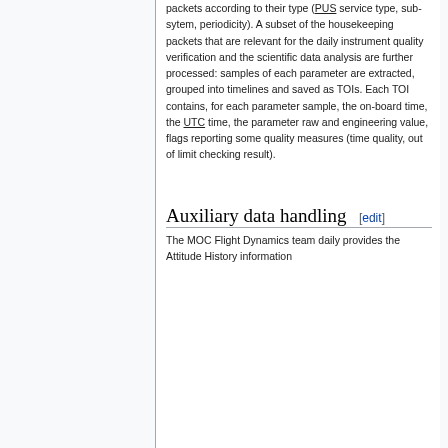packets according to their type (PUS service type, sub-sytem, periodicity). A subset of the housekeeping packets that are relevant for the daily instrument quality verification and the scientific data analysis are further processed: samples of each parameter are extracted, grouped into timelines and saved as TOIs. Each TOI contains, for each parameter sample, the on-board time, the UTC time, the parameter raw and engineering value, flags reporting some quality measures (time quality, out of limit checking result).
Auxiliary data handling
The MOC Flight Dynamics team daily provides the Attitude History information